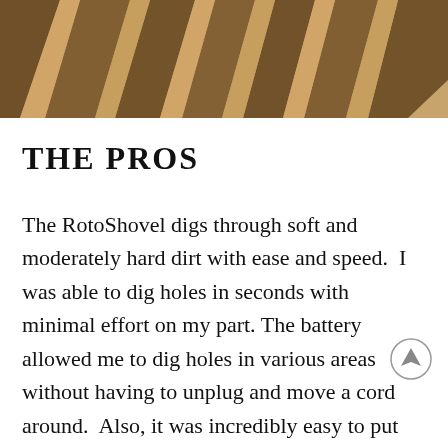[Figure (photo): Close-up photo of tire tracks pressed into sandy/dirt soil, showing alternating dark and light diagonal tread patterns.]
THE PROS
The RotoShovel digs through soft and moderately hard dirt with ease and speed.  I was able to dig holes in seconds with minimal effort on my part. The battery allowed me to dig holes in various areas without having to unplug and move a cord around.  Also, it was incredibly easy to put together and to take apart.